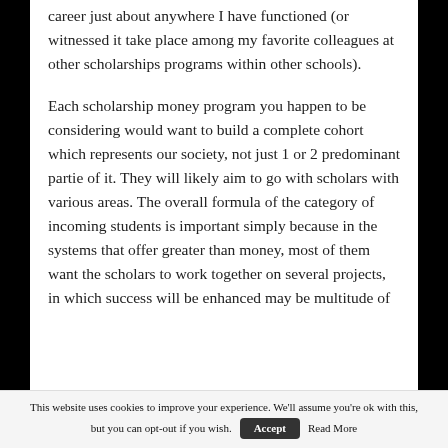career just about anywhere I have functioned (or witnessed it take place among my favorite colleagues at other scholarships programs within other schools).
Each scholarship money program you happen to be considering would want to build a complete cohort which represents our society, not just 1 or 2 predominant partie of it. They will likely aim to go with scholars with various areas. The overall formula of the category of incoming students is important simply because in the systems that offer greater than money, most of them want the scholars to work together on several projects, in which success will be enhanced may be multitude of
This website uses cookies to improve your experience. We'll assume you're ok with this, but you can opt-out if you wish. Accept Read More